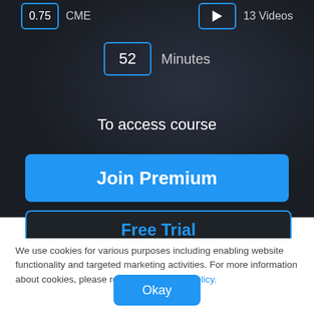[Figure (screenshot): Dark background UI section showing course info badges: 0.75 CME badge, 13 Videos badge with play icon, and 52 Minutes badge]
To access course
Join Premium
Free Trial
We use cookies for various purposes including enabling website functionality and targeted marketing activities. For more information about cookies, please review our Privacy Policy.
Okay